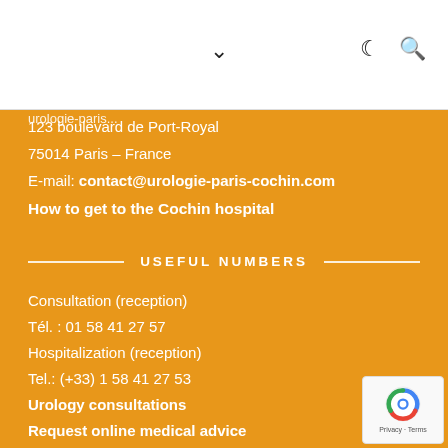Navigation bar with chevron, moon, and search icons
123 boulevard de Port-Royal
75014 Paris – France
E-mail: contact@urologie-paris-cochin.com
How to get to the Cochin hospital
USEFUL NUMBERS
Consultation (reception)
Tél. : 01 58 41 27 57
Hospitalization (reception)
Tel.: (+33) 1 58 41 27 53
Urology consultations
Request online medical advice
[Figure (logo): reCAPTCHA badge with Privacy and Terms text]